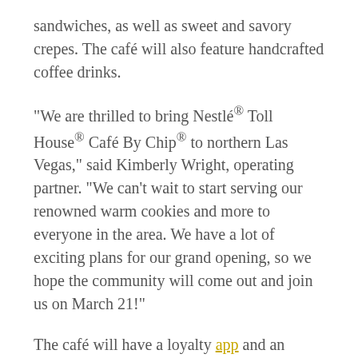sandwiches, as well as sweet and savory crepes. The café will also feature handcrafted coffee drinks.
“We are thrilled to bring Nestlé® Toll House® Café By Chip® to northern Las Vegas,” said Kimberly Wright, operating partner. “We can’t wait to start serving our renowned warm cookies and more to everyone in the area. We have a lot of exciting plans for our grand opening, so we hope the community will come out and join us on March 21!”
The café will have a loyalty app and an online ordering option to enhance the guest experience. This opening marks the third Nestlé® Toll House® Café By Chip® in Las Vegas and the third in Nevada.